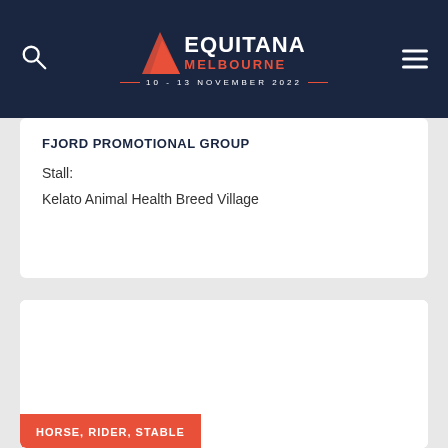EQUITANA MELBOURNE 10 - 13 NOVEMBER 2022
FJORD PROMOTIONAL GROUP
Stall:
Kelato Animal Health Breed Village
[Figure (other): White card area with red badge label reading HORSE, RIDER, STABLE]